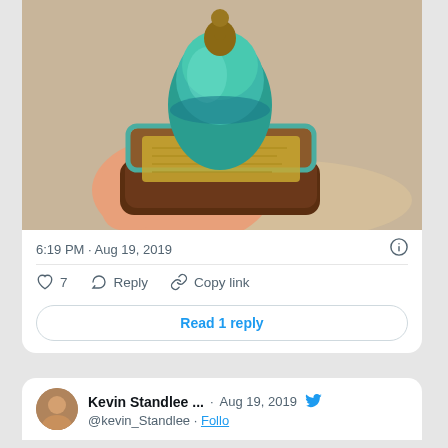[Figure (photo): A hand holding a trophy/award with a teal and brown wooden base and a golden plaque with engraved text.]
6:19 PM · Aug 19, 2019
7  Reply  Copy link
Read 1 reply
Kevin Standlee ...  · Aug 19, 2019